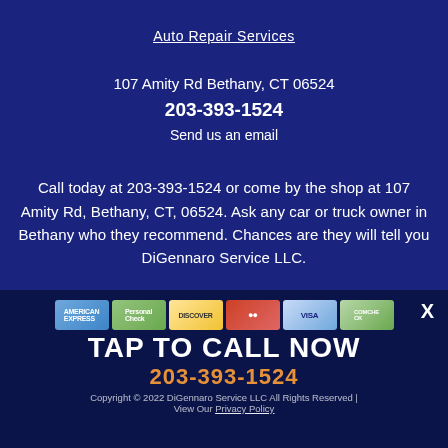Auto Repair Services
107 Amity Rd Bethany, CT 06524
203-393-1524
Send us an email
Call today at 203-393-1524 or come by the shop at 107 Amity Rd, Bethany, CT, 06524. Ask any car or truck owner in Bethany who they recommend. Chances are they will tell you DiGennaro Service LLC.
[Figure (infographic): Credit card logos: American Express, Personal Check, Discover, MasterCard, Visa, ComCheck]
TAP TO CALL NOW
203-393-1524
Copyright © 2022 DiGennaro Service LLC All Rights Reserved | View Our Privacy Policy